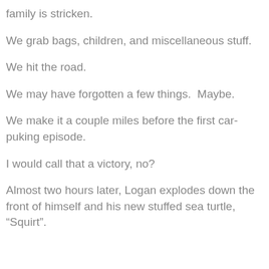family is stricken.
We grab bags, children, and miscellaneous stuff.
We hit the road.
We may have forgotten a few things.  Maybe.
We make it a couple miles before the first car-puking episode.
I would call that a victory, no?
Almost two hours later, Logan explodes down the front of himself and his new stuffed sea turtle, “Squirt”.